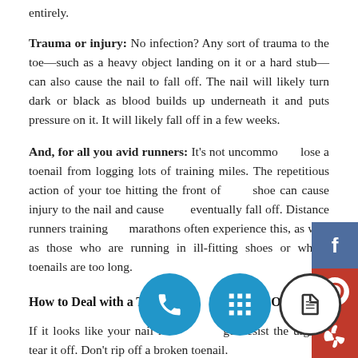entirely.
Trauma or injury: No infection? Any sort of trauma to the toe—such as a heavy object landing on it or a hard stub—can also cause the nail to fall off. The nail will likely turn dark or black as blood builds up underneath it and puts pressure on it. It will likely fall off in a few weeks.
And, for all you avid runners: It's not uncommon to lose a toenail from logging lots of training miles. The repetitious action of your toe hitting the front of your shoe can cause injury to the nail and cause it to eventually fall off. Distance runners training for marathons often experience this, as well as those who are running in ill-fitting shoes or whose toenails are too long.
How to Deal with a Toenail That Falls Off
If it looks like your nail is damaged, resist the urge to tear it off. Don't rip off a broken toenail.